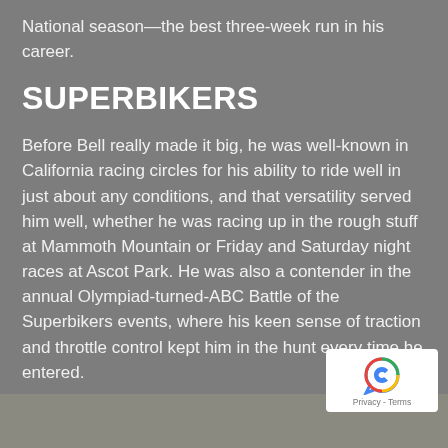National season—the best three-week run in his career.
SUPERBIKERS
Before Bell really made it big, he was well-known in California racing circles for his ability to ride well in just about any conditions, and that versatility served him well, whether he was racing up in the rough stuff at Mammoth Mountain or Friday and Saturday night races at Ascot Park. He was also a contender in the annual Olympiad-turned-ABC Battle of the Superbikers events, where his keen sense of traction and throttle control kept him in the hunt every time he entered.
[Figure (photo): Partial view of a photo at the bottom of the page, appears to show an outdoor scene]